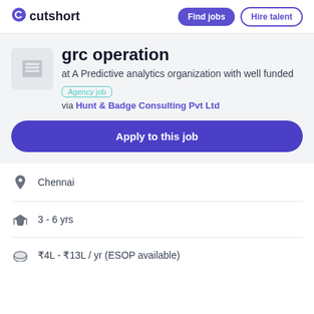cutshort | Find jobs | Hire talent
grc operation
at A Predictive analytics organization with well funded
Agency job
via Hunt & Badge Consulting Pvt Ltd
Apply to this job
Chennai
3 - 6 yrs
₹4L - ₹13L / yr (ESOP available)